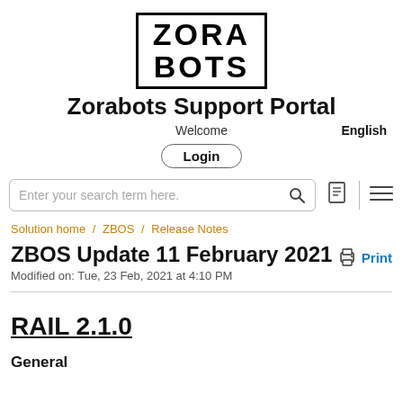[Figure (logo): Zorabots logo with text ZORA BOTS in a bordered box]
Zorabots Support Portal
Welcome
English
Login
Enter your search term here.
Solution home / ZBOS / Release Notes
ZBOS Update 11 February 2021
Modified on: Tue, 23 Feb, 2021 at 4:10 PM
RAIL 2.1.0
General